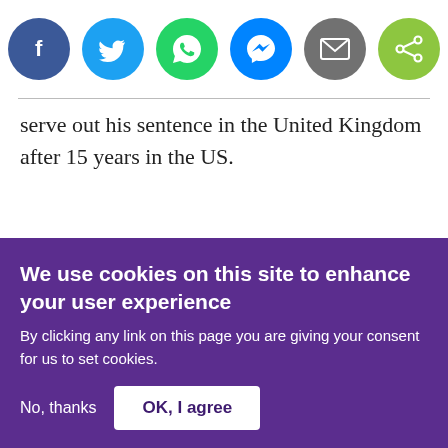[Figure (infographic): Row of six social media sharing icons: Facebook (dark blue), Twitter (light blue), WhatsApp (green), Messenger (blue), Email (gray), Share (green)]
serve out his sentence in the United Kingdom after 15 years in the US.
We use cookies on this site to enhance your user experience
By clicking any link on this page you are giving your consent for us to set cookies.
No, thanks
OK, I agree